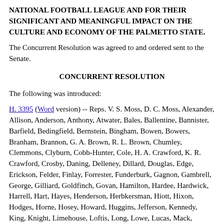NATIONAL FOOTBALL LEAGUE AND FOR THEIR SIGNIFICANT AND MEANINGFUL IMPACT ON THE CULTURE AND ECONOMY OF THE PALMETTO STATE.
The Concurrent Resolution was agreed to and ordered sent to the Senate.
CONCURRENT RESOLUTION
The following was introduced:
H. 3395 (Word version) -- Reps. V. S. Moss, D. C. Moss, Alexander, Allison, Anderson, Anthony, Atwater, Bales, Ballentine, Bannister, Barfield, Bedingfield, Bernstein, Bingham, Bowen, Bowers, Branham, Brannon, G. A. Brown, R. L. Brown, Chumley, Clemmons, Clyburn, Cobb-Hunter, Cole, H. A. Crawford, K. R. Crawford, Crosby, Daning, Delleney, Dillard, Douglas, Edge, Erickson, Felder, Finlay, Forrester, Funderburk, Gagnon, Gambrell, George, Gilliard, Goldfinch, Govan, Hamilton, Hardee, Hardwick, Harrell, Hart, Hayes, Henderson, Herbkersman, Hiott, Hixon, Hodges, Horne, Hosey, Howard, Huggins, Jefferson, Kennedy, King, Knight, Limehouse, Loftis, Long, Lowe, Lucas, Mack, McCoy, McEachern, M. S. McLeod, W. J. McLeod, Merrill, Mitchell, Munnerlyn, Murphy, Nanney, Neal, Newton, Norman, Ott, Owens, Parks, Patrick, Pitts, Pope, Powers Norrell, Putnam, Sabb, Ridgeway, Riley, Rivers, Robinson, Simmons, Rutherford,